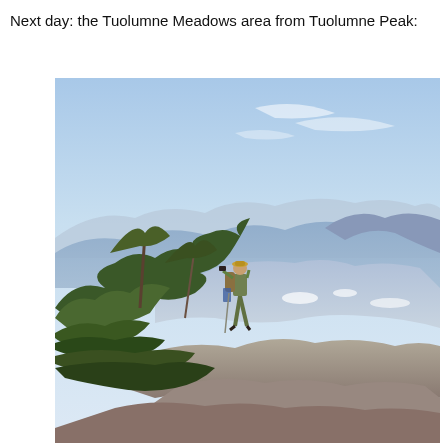Next day: the Tuolumne Meadows area from Tuolumne Peak:
[Figure (photo): A hiker with a backpack stands on a rocky ridge among low shrubs and trees, photographing the panoramic view of Tuolumne Meadows valley below, with blue mountain ranges and a clear sky in the background.]